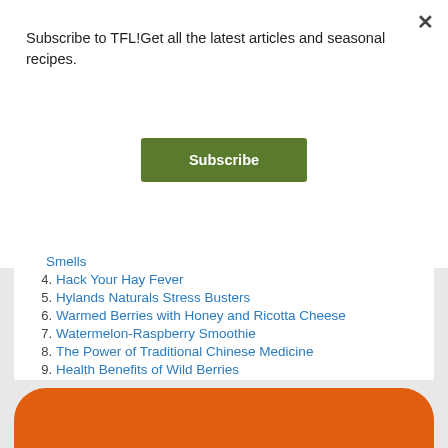Subscribe to TFL!Get all the latest articles and seasonal recipes.
Subscribe
Smells
4. Hack Your Hay Fever
5. Hylands Naturals Stress Busters
6. Warmed Berries with Honey and Ricotta Cheese
7. Watermelon-Raspberry Smoothie
8. The Power of Traditional Chinese Medicine
9. Health Benefits of Wild Berries
10. Tomato-Basil Topping